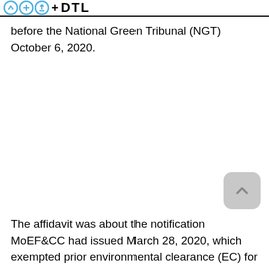DTL
before the National Green Tribunal (NGT) October 6, 2020.
The affidavit was about the notification MoEF&CC had issued March 28, 2020, which exempted prior environmental clearance (EC) for